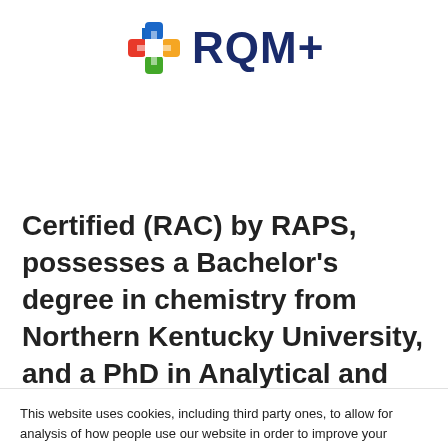[Figure (logo): RQM+ logo with colorful cross/plus icon and dark blue RQM+ text]
Certified (RAC) by RAPS, possesses a Bachelor's degree in chemistry from Northern Kentucky University, and a PhD in Analytical and Materials Chemistry from Indiana University Bloomington
This website uses cookies, including third party ones, to allow for analysis of how people use our website in order to improve your experience and our services. By continuing to use our website, you agree to the use of such cookies. For more information see our Cookie Policy and Privacy Policy.
If you decline, your information won't be tracked when you visit this website. A single cookie will be used in your browser to remember your preference not to be tracked.